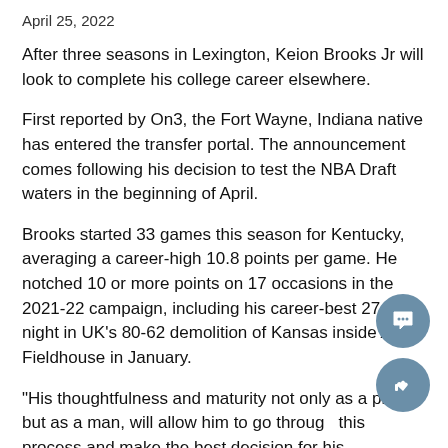April 25, 2022
After three seasons in Lexington, Keion Brooks Jr will look to complete his college career elsewhere.
First reported by On3, the Fort Wayne, Indiana native has entered the transfer portal. The announcement comes following his decision to test the NBA Draft waters in the beginning of April.
Brooks started 33 games this season for Kentucky, averaging a career-high 10.8 points per game. He notched 10 or more points on 17 occasions in the 2021-22 campaign, including his career-best 27-point night in UK's 80-62 demolition of Kansas inside Allen Fieldhouse in January.
“His thoughtfulness and maturity not only as a player, but as a man, will allow him to go through this process and make the best decision for his